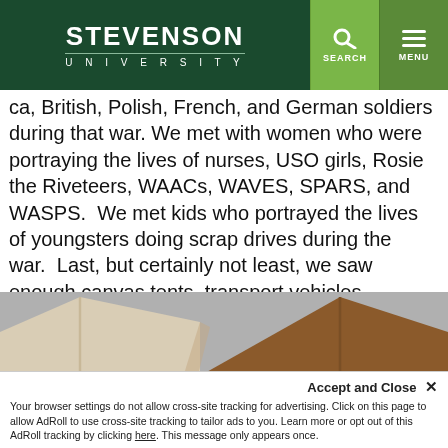STEVENSON UNIVERSITY | SEARCH | MENU
...ca, British, Polish, French, and German soldiers during that war. We met with women who were portraying the lives of nurses, USO girls, Rosie the Riveteers, WAACs, WAVES, SPARS, and WASPS.  We met kids who portrayed the lives of youngsters doing scrap drives during the war.  Last, but certainly not least, we saw enough canvas tents, transport vehicles, armored vehicles, weapons, and uniforms to outfit a division.
[Figure (photo): Canvas military tents photographed from outside, showing a cream/beige tent and a brown tent side by side against a grey sky background.]
Accept and Close ✕
Your browser settings do not allow cross-site tracking for advertising. Click on this page to allow AdRoll to use cross-site tracking to tailor ads to you. Learn more or opt out of this AdRoll tracking by clicking here. This message only appears once.